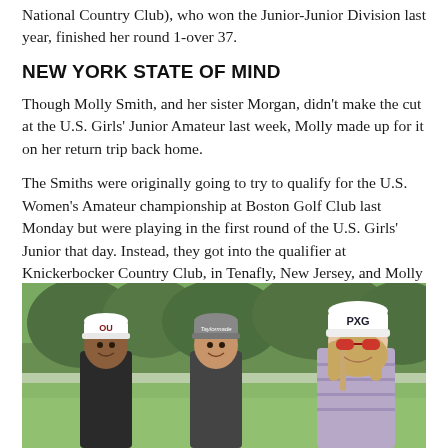National Country Club), who won the Junior-Junior Division last year, finished her round 1-over 37.
NEW YORK STATE OF MIND
Though Molly Smith, and her sister Morgan, didn't make the cut at the U.S. Girls' Junior Amateur last week, Molly made up for it on her return trip back home.
The Smiths were originally going to try to qualify for the U.S. Women's Amateur championship at Boston Golf Club last Monday but were playing in the first round of the U.S. Girls' Junior that day. Instead, they got into the qualifier at Knickerbocker Country Club, in Tenafly, New Jersey, and Molly emerged with one of four qualifying spots for the Championship Proper, which begins August 2 in Rye, New York.
[Figure (photo): Three young women wearing golf caps (one with OU logo, one with Taylormade logo, one with PXG logo and red sunglasses) smiling at the camera on a golf course with green trees in the background.]